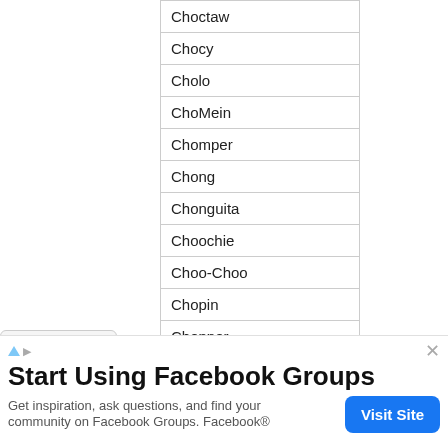| Choctaw |
| Chocy |
| Cholo |
| ChoMein |
| Chomper |
| Chong |
| Chonguita |
| Choochie |
| Choo-Choo |
| Chopin |
| Chopper |
| Chopsticks |
[Figure (screenshot): Advertisement banner: Start Using Facebook Groups. Get inspiration, ask questions, and find your community on Facebook Groups. Facebook®. Visit Site button.]